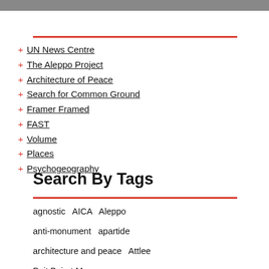[Figure (photo): Partial photo strip at top of page]
+ UN News Centre
+ The Aleppo Project
+ Architecture of Peace
+ Search for Common Ground
+ Framer Framed
+ FAST
+ Volume
+ Places
+ Psychogeography
Search By Tags
agnostic   AICA   Aleppo
anti-monument   apartide
architecture and peace   Attlee
Beit Beirut Museum